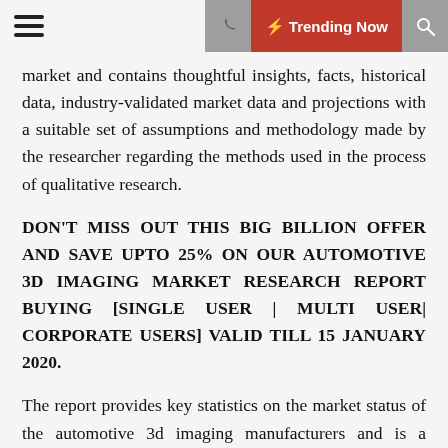☰ 🌙 ⚡ Trending Now 🔍
market and contains thoughtful insights, facts, historical data, industry-validated market data and projections with a suitable set of assumptions and methodology made by the researcher regarding the methods used in the process of qualitative research.
DON'T MISS OUT THIS BIG BILLION OFFER AND SAVE UPTO 25% ON OUR AUTOMOTIVE 3D IMAGING MARKET RESEARCH REPORT BUYING [SINGLE USER | MULTI USER| CORPORATE USERS] VALID TILL 15 JANUARY 2020.
The report provides key statistics on the market status of the automotive 3d imaging manufacturers and is a valuable source of guidance and direction for companies and individuals interested in the industry. The report analyzes the automotive 3d imaging market over the values, historical pricing structure, and volume trends that make it easy to predict growth momentum and precisely estimate forthcoming opportunities in the